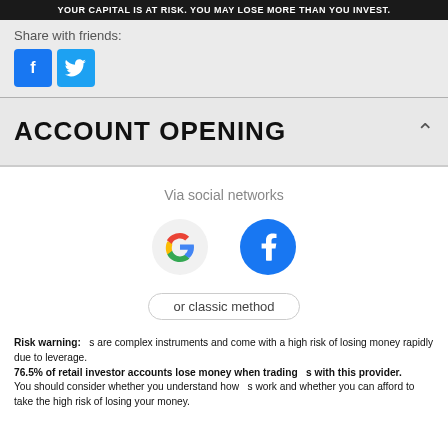YOUR CAPITAL IS AT RISK. YOU MAY LOSE MORE THAN YOU INVEST.
Share with friends:
[Figure (illustration): Facebook and Twitter share buttons]
ACCOUNT OPENING
Via social networks
[Figure (illustration): Google and Facebook social login icons]
or classic method
Risk warning: s are complex instruments and come with a high risk of losing money rapidly due to leverage. 76.5% of retail investor accounts lose money when trading s with this provider. You should consider whether you understand how s work and whether you can afford to take the high risk of losing your money.